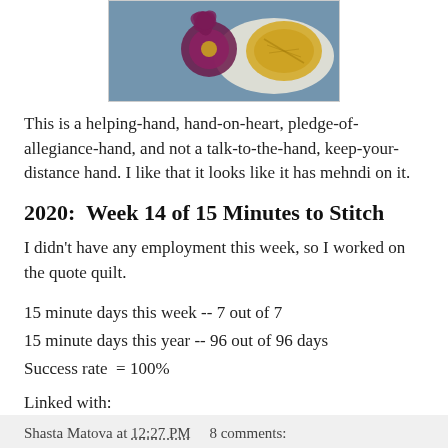[Figure (photo): Embroidered fabric with floral and hand motifs in purple and yellow on a blue and white textile background]
This is a helping-hand, hand-on-heart, pledge-of-allegiance-hand, and not a talk-to-the-hand, keep-your-distance hand. I like that it looks like it has mehndi on it.
2020:  Week 14 of 15 Minutes to Stitch
I didn't have any employment this week, so I worked on the quote quilt.
15 minute days this week -- 7 out of 7
15 minute days this year -- 96 out of 96 days
Success rate  = 100%
Linked with:
15 Minutes to Stitch
Shasta Matova at 12:27 PM    8 comments: